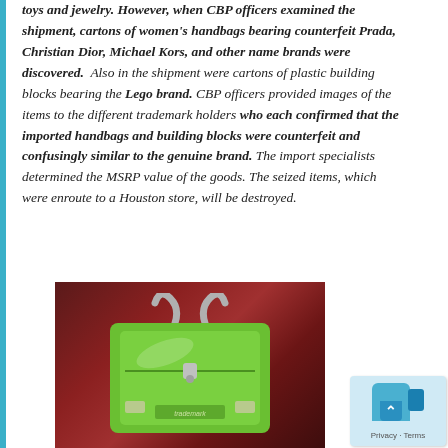toys and jewelry. However, when CBP officers examined the shipment, cartons of women's handbags bearing counterfeit Prada, Christian Dior, Michael Kors, and other name brands were discovered. Also in the shipment were cartons of plastic building blocks bearing the Lego brand. CBP officers provided images of the items to the different trademark holders who each confirmed that the imported handbags and building blocks were counterfeit and confusingly similar to the genuine brand. The import specialists determined the MSRP value of the goods. The seized items, which were enroute to a Houston store, will be destroyed.
[Figure (photo): Photo of a green patent leather handbag with silver hardware against a dark red/maroon background]